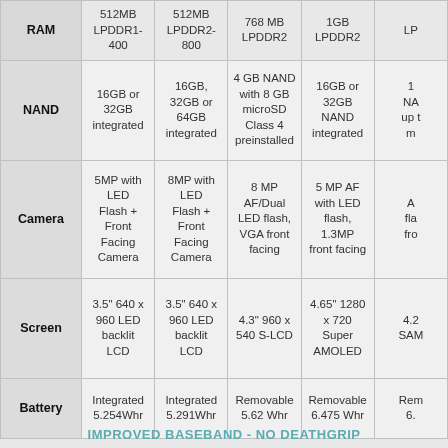|  | Col1 | Col2 | Col3 | Col4 | Col5 |
| --- | --- | --- | --- | --- | --- |
| RAM | 512MB LPDDR1-400 | 512MB LPDDR2-800 | 768 MB LPDDR2 | 1GB LPDDR2 | LP... |
| NAND | 16GB or 32GB integrated | 16GB, 32GB or 64GB integrated | 4 GB NAND with 8 GB microSD Class 4 preinstalled | 16GB or 32GB NAND integrated | 1... NA... up t... m... |
| Camera | 5MP with LED Flash + Front Facing Camera | 8MP with LED Flash + Front Facing Camera | 8 MP AF/Dual LED flash, VGA front facing | 5 MP AF with LED flash, 1.3MP front facing | A... fla... fro... |
| Screen | 3.5" 640 x 960 LED backlit LCD | 3.5" 640 x 960 LED backlit LCD | 4.3" 960 x 540 S-LCD | 4.65" 1280 x 720 Super AMOLED | 4.2... SAM... |
| Battery | Integrated 5.254Whr | Integrated 5.291Whr | Removable 5.62 Whr | Removable 6.475 Whr | Rem... 6.... |
IMPROVED BASEBAND - NO DEATHGRIP